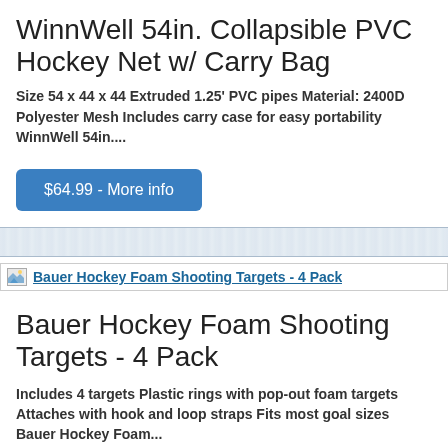WinnWell 54in. Collapsible PVC Hockey Net w/ Carry Bag
Size 54 x 44 x 44 Extruded 1.25' PVC pipes Material: 2400D Polyester Mesh Includes carry case for easy portability WinnWell 54in....
$64.99 - More info
[Figure (other): Bauer Hockey Foam Shooting Targets - 4 Pack product image placeholder]
Bauer Hockey Foam Shooting Targets - 4 Pack
Includes 4 targets Plastic rings with pop-out foam targets Attaches with hook and loop straps Fits most goal sizes Bauer Hockey Foam...
$24.99 - More info